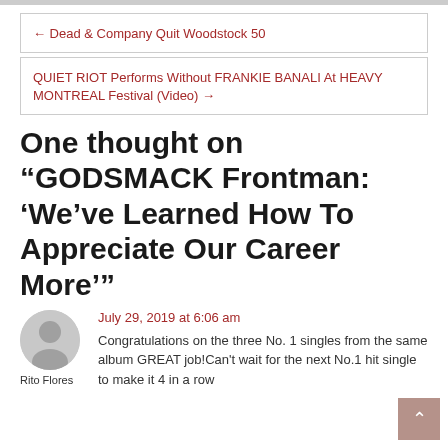← Dead & Company Quit Woodstock 50
QUIET RIOT Performs Without FRANKIE BANALI At HEAVY MONTREAL Festival (Video) →
One thought on "GODSMACK Frontman: 'We've Learned How To Appreciate Our Career More'"
July 29, 2019 at 6:06 am
Congratulations on the three No. 1 singles from the same album GREAT job!Can't wait for the next No.1 hit single to make it 4 in a row
Rito Flores